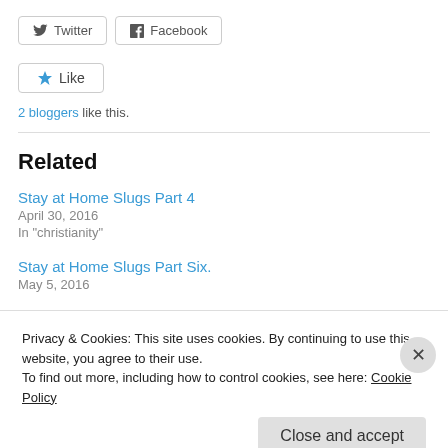[Figure (other): Twitter and Facebook share buttons]
[Figure (other): Like button with star icon]
2 bloggers like this.
Related
Stay at Home Slugs Part 4
April 30, 2016
In "christianity"
Stay at Home Slugs Part Six.
May 5, 2016
Privacy & Cookies: This site uses cookies. By continuing to use this website, you agree to their use.
To find out more, including how to control cookies, see here: Cookie Policy